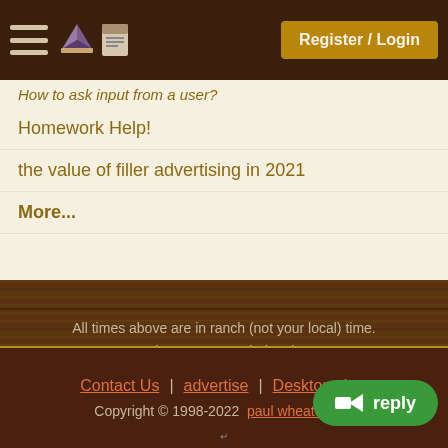Register / Login
How to ask input from a user?
Homework Help!
the value of filler advertising in 2021
More...
All times above are in ranch (not your local) time.
The current ranch time is
Aug 28, 2022 16:32:07.
Contact Us | advertise | Desktop view
Copyright © 1998-2022  paul wheaton , m...